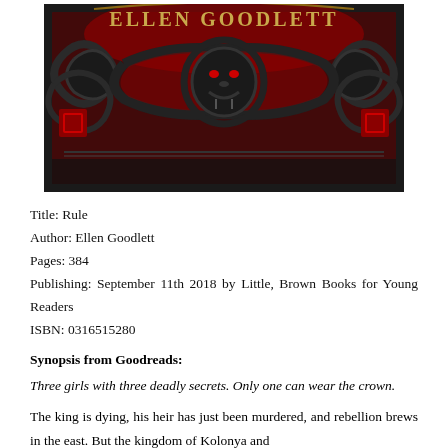[Figure (photo): Book cover of 'Rule' by Ellen Goodlett — dark ornate ironwork design with red background, a fierce lion face with red eyes at center, gold text 'ELLEN GOODLETT' arched at top]
Title: Rule
Author: Ellen Goodlett
Pages: 384
Publishing: September 11th 2018 by Little, Brown Books for Young Readers
ISBN: 0316515280
Synopsis from Goodreads:
Three girls with three deadly secrets. Only one can wear the crown.
The king is dying, his heir has just been murdered, and rebellion brews in the east. But the kingdom of Kolonya and